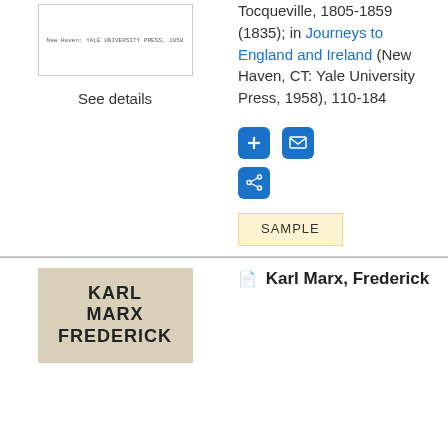[Figure (illustration): Book thumbnail showing Yale University Press publication]
See details
Tocqueville, 1805-1859 (1835); in Journeys to England and Ireland (New Haven, CT: Yale University Press, 1958), 110-184
[Figure (other): Plus icon button]
[Figure (other): Email icon button]
[Figure (other): Share icon button]
SAMPLE
[Figure (illustration): Book cover for Karl Marx, Frederick - brown/tan background with bold text]
Karl Marx, Frederick